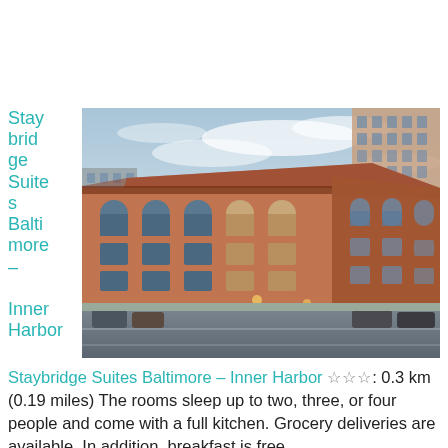Staybridge Suites Baltimore – Inner Harbor
[Figure (photo): Exterior photo of Staybridge Suites Baltimore – Inner Harbor, a large red-brick historic-style building with arched windows, viewed from street level at dusk with city skyscrapers visible in the background.]
Staybridge Suites Baltimore – Inner Harbor ☆☆☆: 0.3 km (0.19 miles) The rooms sleep up to two, three, or four people and come with a full kitchen. Grocery deliveries are available. In addition, breakfast is free.